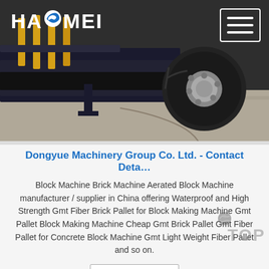[Figure (photo): Hero banner showing industrial machinery (block making machine) with yellow components and large tire, with HAOMEI logo in white top-left and hamburger menu icon top-right]
Dongyue Machinery Group Co. Ltd. - Contact Deta…
Block Machine Brick Machine Aerated Block Machine manufacturer / supplier in China offering Waterproof and High Strength Gmt Fiber Brick Pallet for Block Making Machine Gmt Pallet Block Making Machine Cheap Gmt Brick Pallet Gmt Fiber Pallet for Concrete Block Machine Gmt Light Weight Fiber Pallet and so on.
Get Price